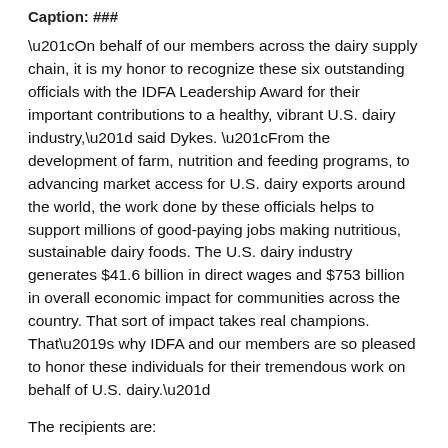Caption: ###
“On behalf of our members across the dairy supply chain, it is my honor to recognize these six outstanding officials with the IDFA Leadership Award for their important contributions to a healthy, vibrant U.S. dairy industry,” said Dykes. “From the development of farm, nutrition and feeding programs, to advancing market access for U.S. dairy exports around the world, the work done by these officials helps to support millions of good-paying jobs making nutritious, sustainable dairy foods. The U.S. dairy industry generates $41.6 billion in direct wages and $753 billion in overall economic impact for communities across the country. That sort of impact takes real champions. That’s why IDFA and our members are so pleased to honor these individuals for their tremendous work on behalf of U.S. dairy.”
The recipients are:
Senator Roy Blunt (R-Missouri)